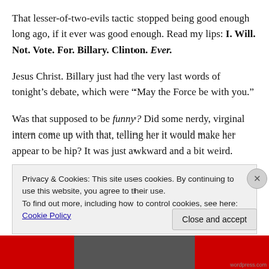That lesser-of-two-evils tactic stopped being good enough long ago, if it ever was good enough. Read my lips: I. Will. Not. Vote. For. Billary. Clinton. Ever.
Jesus Christ. Billary just had the very last words of tonight's debate, which were “May the Force be with you.”
Was that supposed to be funny? Did some nerdy, virginal intern come up with that, telling her it would make her appear to be hip? It was just awkward and a bit weird.
Anyway. The debate is over, thank Goddess. (While I still
Privacy & Cookies: This site uses cookies. By continuing to use this website, you agree to their use.
To find out more, including how to control cookies, see here: Cookie Policy